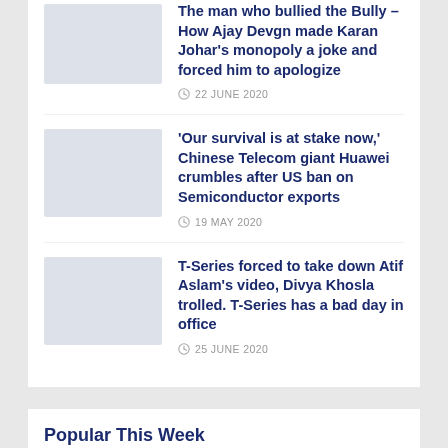The man who bullied the Bully – How Ajay Devgn made Karan Johar's monopoly a joke and forced him to apologize
22 JUNE 2020
[Figure (photo): Thumbnail image placeholder for first article]
'Our survival is at stake now,' Chinese Telecom giant Huawei crumbles after US ban on Semiconductor exports
19 MAY 2020
[Figure (photo): Thumbnail image placeholder for second article]
T-Series forced to take down Atif Aslam's video, Divya Khosla trolled. T-Series has a bad day in office
25 JUNE 2020
[Figure (photo): Thumbnail image placeholder for third article]
Popular This Week